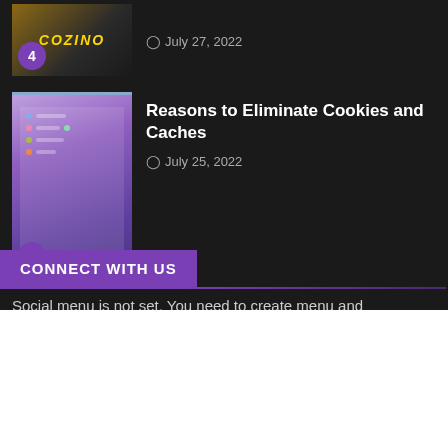[Figure (photo): Casino thumbnail image with number 4 badge, showing 'COZINO' text on a dark background]
July 27, 2022
[Figure (screenshot): Screenshot of a computer interface with purple/blue gradient background and number 5 badge]
Reasons to Eliminate Cookies and Caches
July 25, 2022
CONNECT WITH US
Social menu is not set. You need to create menu and
We use cookies on our website to give you the most relevant experience by remembering your preferences and repeat visits. By clicking “Accept”, you consent to the use of ALL the cookies.
Do not sell my personal information.
Cookie Settings
Accept